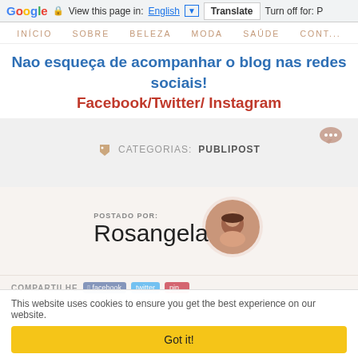Google | View this page in: English | Translate | Turn off for: P
INÍCIO  SOBRE  BELEZA  MODA  SAÚDE  CONT...
Nao esqueça de acompanhar o blog nas redes sociais!
Facebook/Twitter/ Instagram
CATEGORIAS: PUBLIPOST
[Figure (illustration): Chat/comment bubble icon in muted red/brown color]
[Figure (illustration): Author signature block reading 'POSTADO POR: Rosangela' with a circular portrait photo of a woman with dark hair]
COMPARTILHE  facebook  twitter  pin...
This website uses cookies to ensure you get the best experience on our website.
Got it!